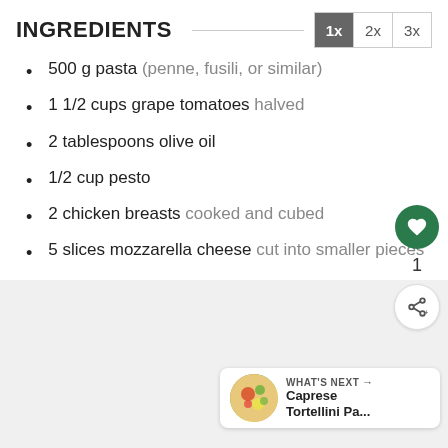INGREDIENTS
500 g pasta (penne, fusili, or similar)
1 1/2 cups grape tomatoes halved
2 tablespoons olive oil
1/2 cup pesto
2 chicken breasts cooked and cubed
5 slices mozzarella cheese cut into smaller pieces
2 tablespoons basil sliced into ribbons
WHAT'S NEXT → Caprese Tortellini Pa...